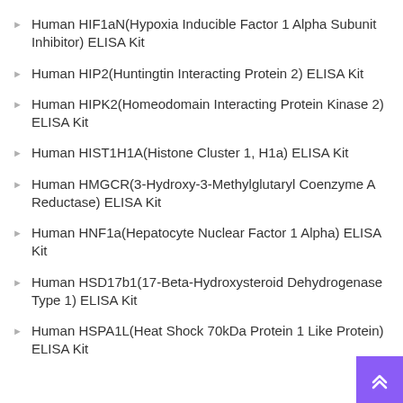Human HIF1aN(Hypoxia Inducible Factor 1 Alpha Subunit Inhibitor) ELISA Kit
Human HIP2(Huntingtin Interacting Protein 2) ELISA Kit
Human HIPK2(Homeodomain Interacting Protein Kinase 2) ELISA Kit
Human HIST1H1A(Histone Cluster 1, H1a) ELISA Kit
Human HMGCR(3-Hydroxy-3-Methylglutaryl Coenzyme A Reductase) ELISA Kit
Human HNF1a(Hepatocyte Nuclear Factor 1 Alpha) ELISA Kit
Human HSD17b1(17-Beta-Hydroxysteroid Dehydrogenase Type 1) ELISA Kit
Human HSPA1L(Heat Shock 70kDa Protein 1 Like Protein) ELISA Kit